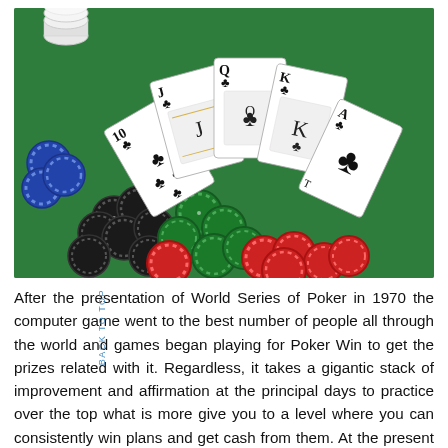[Figure (photo): Poker chips (blue, red, black, green) and playing cards (10 of clubs, Jack of clubs, Queen of clubs, King of clubs, Ace of clubs) spread on a green felt poker table surface.]
After the presentation of World Series of Poker in 1970 the computer game went to the best number of people all through the world and games began playing for Poker Win to get the prizes related with it. Regardless, it takes a gigantic stack of improvement and affirmation at the principal days to practice over the top what is more give you to a level where you can consistently win plans and get cash from them. At the present time various